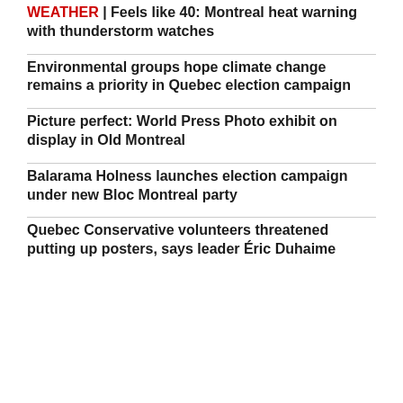WEATHER | Feels like 40: Montreal heat warning with thunderstorm watches
Environmental groups hope climate change remains a priority in Quebec election campaign
Picture perfect: World Press Photo exhibit on display in Old Montreal
Balarama Holness launches election campaign under new Bloc Montreal party
Quebec Conservative volunteers threatened putting up posters, says leader Éric Duhaime